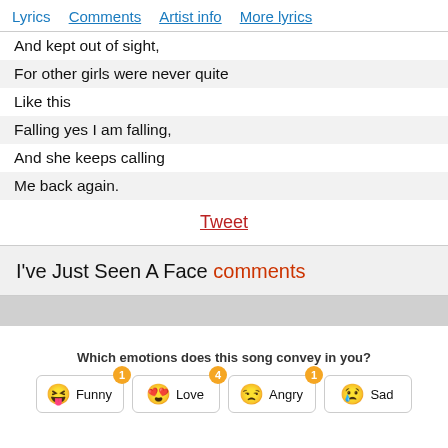Lyrics  Comments  Artist info  More lyrics
And kept out of sight,
For other girls were never quite
Like this
Falling yes I am falling,
And she keeps calling
Me back again.
Tweet
I've Just Seen A Face comments
Which emotions does this song convey in you?
Funny 1  Love 4  Angry 1  Sad